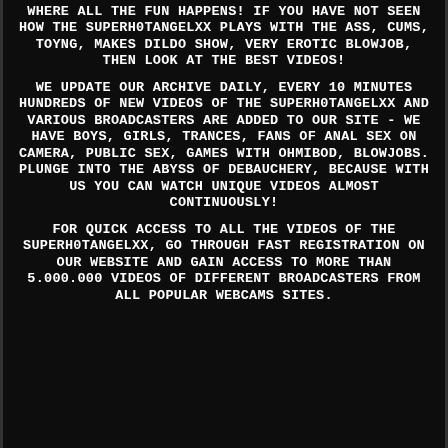WHERE ALL THE FUN HAPPENS! IF YOU HAVE NOT SEEN HOW THE SUPERH0TANGELXX PLAYS WITH THE ASS, CUMS, TOYNG, MAKES DILDO SHOW, VERY EROTIC BLOWJOB, THEN LOOK AT THE BEST VIDEOS!
WE UPDATE OUR ARCHIVE DAILY, EVERY 10 MINUTES HUNDREDS OF NEW VIDEOS OF THE SUPERH0TANGELXX AND VARIOUS BROADCASTERS ARE ADDED TO OUR SITE - WE HAVE BOYS, GIRLS, TRANCES, FANS OF ANAL SEX ON CAMERA, PUBLIC SEX, GAMES WITH OHMIBOD, BLOWJOBS. PLUNGE INTO THE ABYSS OF DEBAUCHERY, BECAUSE WITH US YOU CAN WATCH UNIQUE VIDEOS ALMOST CONTINUOUSLY!
FOR QUICK ACCESS TO ALL THE VIDEOS OF THE SUPERH0TANGELXX, GO THROUGH FAST REGISTRATION ON OUR WEBSITE AND GAIN ACCESS TO MORE THAN 5.000.000 VIDEOS OF DIFFERENT BROADCASTERS FROM ALL POPULAR WEBCAMS SITES.